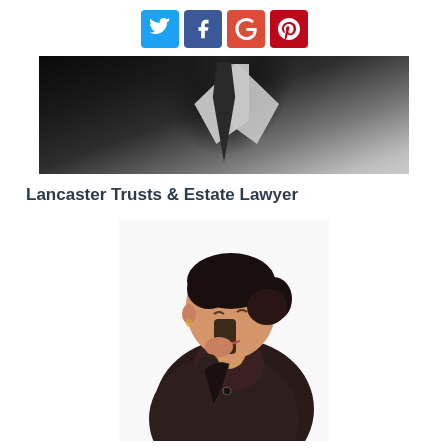Social share icons: Twitter, Facebook, Google+, Pinterest
[Figure (photo): Black and white photo of a man in a suit and tie, cropped at upper body]
Lancaster Trusts & Estate Lawyer
[Figure (photo): Photo of a woman in a dark blazer talking on a mobile phone, smiling with eyes downcast, against white background]